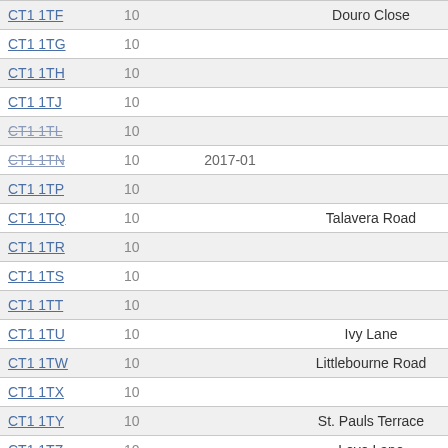| Postcode | Num | Date | Street | Count |
| --- | --- | --- | --- | --- |
| CT1 1TF | 10 |  | Douro Close | 14 |
| CT1 1TG | 10 |  |  | 0 |
| CT1 1TH | 10 |  |  | 0 |
| CT1 1TJ | 10 |  |  | 0 |
| CT1 1TL | 10 |  |  | 0 |
| CT1 1TN | 10 | 2017-01 |  | 0 |
| CT1 1TP | 10 |  |  | 0 |
| CT1 1TQ | 10 |  | Talavera Road | 21 |
| CT1 1TR | 10 |  |  | 0 |
| CT1 1TS | 10 |  |  | 0 |
| CT1 1TT | 10 |  |  | 0 |
| CT1 1TU | 10 |  | Ivy Lane | 17 |
| CT1 1TW | 10 |  | Littlebourne Road | 1 |
| CT1 1TX | 10 |  |  | 0 |
| CT1 1TY | 10 |  | St. Pauls Terrace | 10 |
| CT1 1TZ | 10 |  | Love Lane | 21 |
| CT1 1UA | 10 |  |  | 0 |